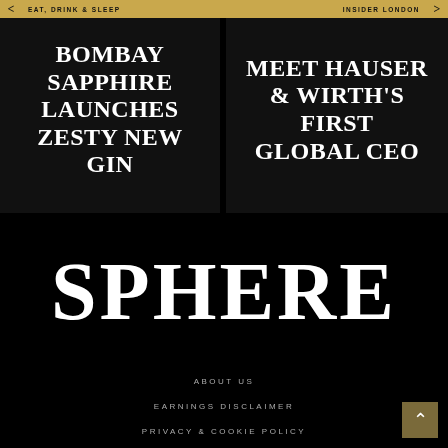EAT, DRINK & SLEEP | INSIDER LONDON
BOMBAY SAPPHIRE LAUNCHES ZESTY NEW GIN
MEET HAUSER & WIRTH'S FIRST GLOBAL CEO
SPHERE
ABOUT US
EARNINGS DISCLAIMER
PRIVACY & COOKIE POLICY